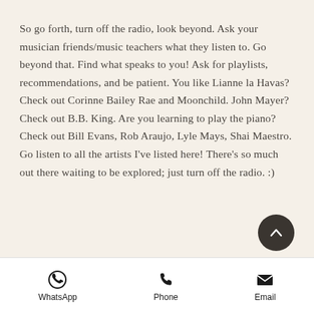So go forth, turn off the radio, look beyond. Ask your musician friends/music teachers what they listen to. Go beyond that. Find what speaks to you! Ask for playlists, recommendations, and be patient. You like Lianne la Havas? Check out Corinne Bailey Rae and Moonchild. John Mayer? Check out B.B. King. Are you learning to play the piano? Check out Bill Evans, Rob Araujo, Lyle Mays, Shai Maestro. Go listen to all the artists I've listed here! There's so much out there waiting to be explored; just turn off the radio. :)
[Figure (other): Footer navigation bar with WhatsApp, Phone, and Email icons and labels]